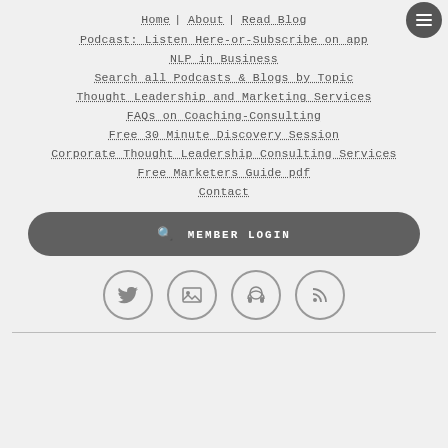Home | About | Read Blog
Podcast: Listen Here-or-Subscribe on app
NLP in Business
Search all Podcasts & Blogs by Topic
Thought Leadership and Marketing Services
FAQs on Coaching-Consulting
Free 30 Minute Discovery Session
Corporate Thought Leadership Consulting Services
Free Marketers Guide pdf
Contact
🔍 MEMBER LOGIN
[Figure (infographic): Four circular social media icons: Twitter bird, image/gallery, headphone/podcast, RSS feed]
horizontal rule divider